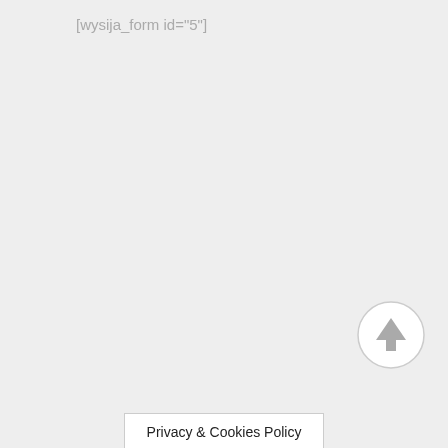[wysija_form id="5"]
[Figure (other): Circular back-to-top arrow button with a light grey border and upward pointing arrow icon]
Privacy & Cookies Policy